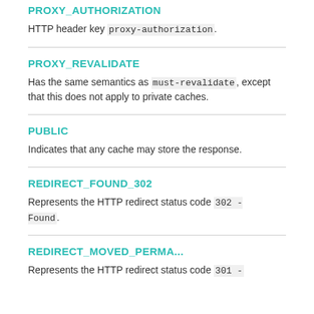PROXY_AUTHORIZATION
HTTP header key proxy-authorization.
PROXY_REVALIDATE
Has the same semantics as must-revalidate, except that this does not apply to private caches.
PUBLIC
Indicates that any cache may store the response.
REDIRECT_FOUND_302
Represents the HTTP redirect status code 302 - Found.
REDIRECT_MOVED_PERMA...
Represents the HTTP redirect status code 301 -